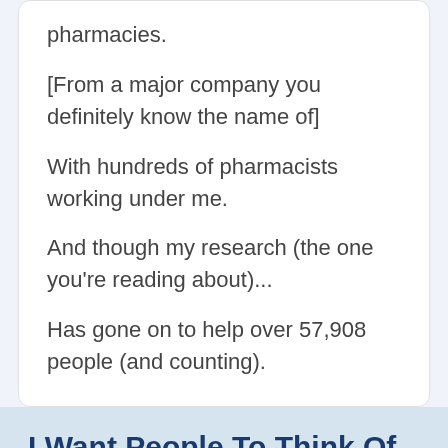pharmacies.
[From a major company you definitely know the name of]
With hundreds of pharmacists working under me.
And though my research (the one you're reading about)...
Has gone on to help over 57,908 people (and counting).
I Want People To Think Of